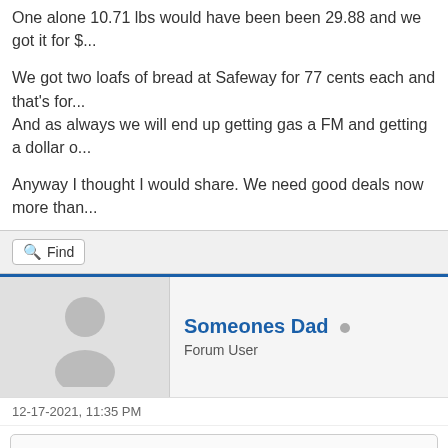One alone 10.71 lbs would have been been 29.88 and we got it for $...
We got two loafs of bread at Safeway for 77 cents each and that's for... And as always we will end up getting gas a FM and getting a dollar o...
Anyway I thought I would share. We need good deals now more than...
Find
Someones Dad
Forum User
12-17-2021, 11:35 PM
tvguy Wrote: My wife came home with 5 cooked hams from Fred Meyer. She pa... pick only.

One alone 10.71 lbs would have been been 29.88 and we got it for...